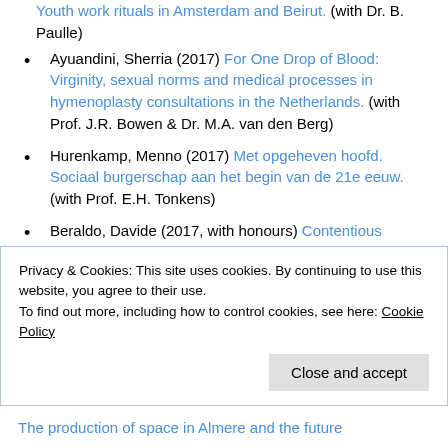Youth work rituals in Amsterdam and Beirut. (with Dr. B. Paulle)
Ayuandini, Sherria (2017) For One Drop of Blood: Virginity, sexual norms and medical processes in hymenoplasty consultations in the Netherlands. (with Prof. J.R. Bowen & Dr. M.A. van den Berg)
Hurenkamp, Menno (2017) Met opgeheven hoofd. Sociaal burgerschap aan het begin van de 21e eeuw. (with Prof. E.H. Tonkens)
Beraldo, Davide (2017, with honours) Contentious Branding. Reassembling social movements in digital environments. (with Dr. P.A. Rebughini & Dr.
Privacy & Cookies: This site uses cookies. By continuing to use this website, you agree to their use.
To find out more, including how to control cookies, see here: Cookie Policy
Close and accept
The production of space in Almere and the future